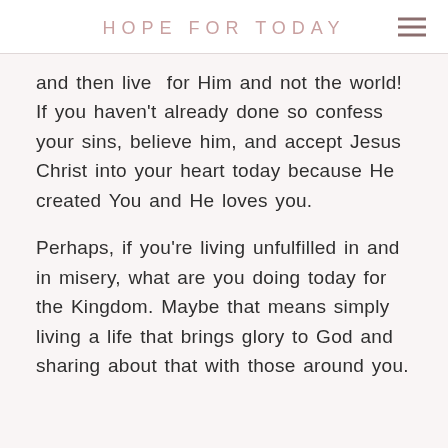HOPE FOR TODAY
and then live for Him and not the world! If you haven't already done so confess your sins, believe him, and accept Jesus Christ into your heart today because He created You and He loves you.
Perhaps, if you're living unfulfilled in and in misery, what are you doing today for the Kingdom. Maybe that means simply living a life that brings glory to God and sharing about that with those around you.